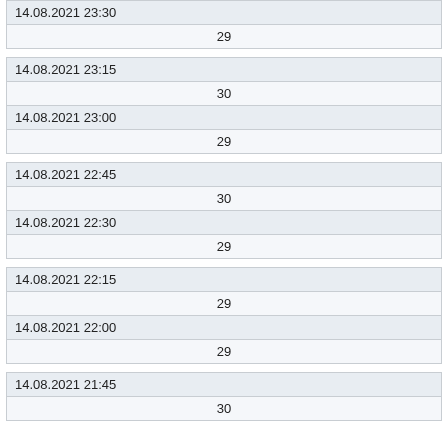| 14.08.2021 23:30 |
| 29 |
| 14.08.2021 23:15 |
| 30 |
| 14.08.2021 23:00 |
| 29 |
| 14.08.2021 22:45 |
| 30 |
| 14.08.2021 22:30 |
| 29 |
| 14.08.2021 22:15 |
| 29 |
| 14.08.2021 22:00 |
| 29 |
| 14.08.2021 21:45 |
| 30 |